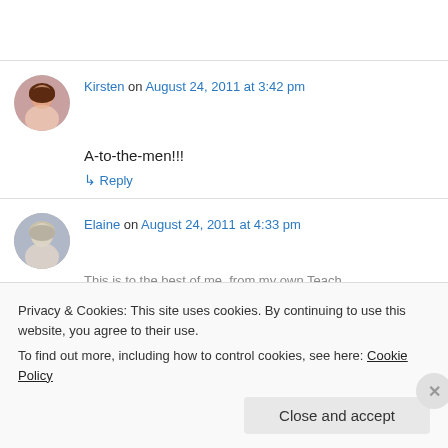Kirsten on August 24, 2011 at 3:42 pm
A-to-the-men!!!
↳ Reply
Elaine on August 24, 2011 at 4:33 pm
Privacy & Cookies: This site uses cookies. By continuing to use this website, you agree to their use.
To find out more, including how to control cookies, see here: Cookie Policy
Close and accept